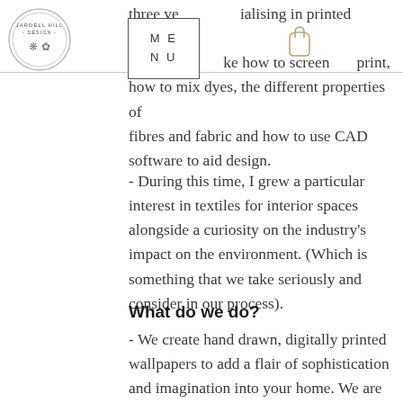[Figure (logo): Jardell Hill Design circular logo with decorative elements]
three years specialising in printed textiles – learning like how to screen print, how to mix dyes, the different properties of fibres and fabric and how to use CAD software to aid design.
- During this time, I grew a particular interest in textiles for interior spaces alongside a curiosity on the industry's impact on the environment. (Which is something that we take seriously and consider in our process).
What do we do?
- We create hand drawn, digitally printed wallpapers to add a flair of sophistication and imagination into your home. We are based in Edinburgh, Scotland – but our shop is online so we can ship to wherever